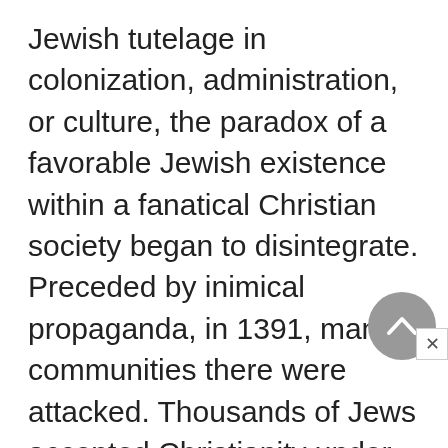Jewish tutelage in colonization, administration, or culture, the paradox of a favorable Jewish existence within a fanatical Christian society began to disintegrate. Preceded by inimical propaganda, in 1391, many communities there were attacked. Thousands of Jews accepted Christianity under compulsion, thus creating in Christian Spain, as well as in Jewish society, the phenomenon and problem of the *Marranos, the anusim, and later on, the creation of